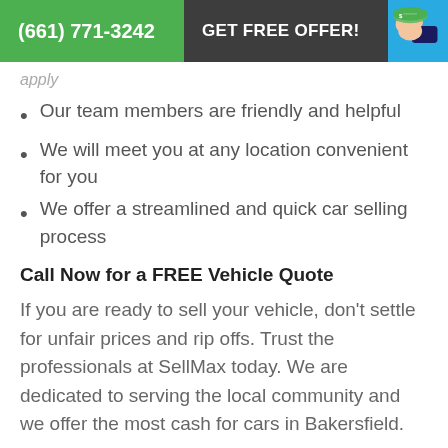(661) 771-3242  GET FREE OFFER!
Our team members are friendly and helpful
We will meet you at any location convenient for you
We offer a streamlined and quick car selling process
Call Now for a FREE Vehicle Quote
If you are ready to sell your vehicle, don’t settle for unfair prices and rip offs. Trust the professionals at SellMax today. We are dedicated to serving the local community and we offer the most cash for cars in Bakersfield.